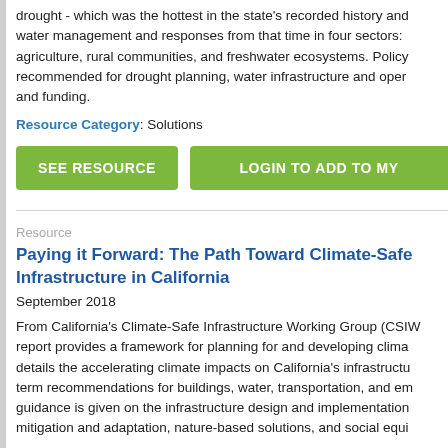drought - which was the hottest in the state's recorded history and water management and responses from that time in four sectors: agriculture, rural communities, and freshwater ecosystems. Policy recommended for drought planning, water infrastructure and operations, and funding.
Resource Category: Solutions
SEE RESOURCE
LOGIN TO ADD TO MY
Resource
Paying it Forward: The Path Toward Climate-Safe Infrastructure in California
September 2018
From California's Climate-Safe Infrastructure Working Group (CSIW report provides a framework for planning for and developing climate details the accelerating climate impacts on California's infrastructure term recommendations for buildings, water, transportation, and energy guidance is given on the infrastructure design and implementation, mitigation and adaptation, nature-based solutions, and social equity